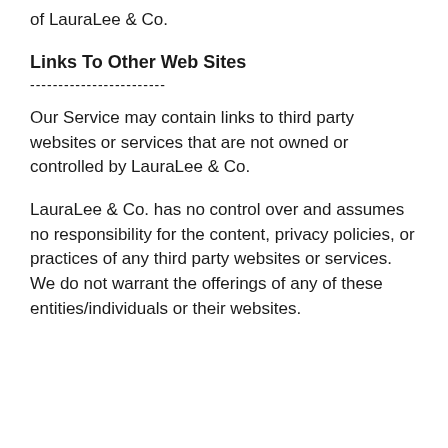of LauraLee & Co.
Links To Other Web Sites
------------------------
Our Service may contain links to third party websites or services that are not owned or controlled by LauraLee & Co.
LauraLee & Co. has no control over and assumes no responsibility for the content, privacy policies, or practices of any third party websites or services. We do not warrant the offerings of any of these entities/individuals or their websites.